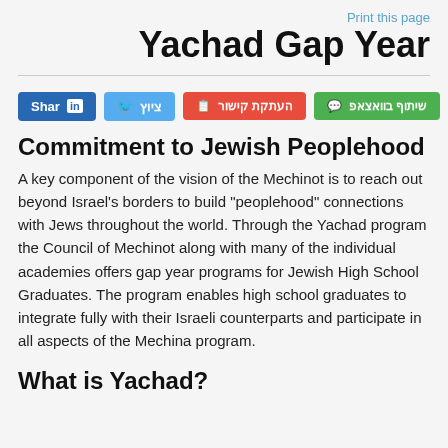Print this page
Yachad Gap Year
[Figure (other): Social sharing buttons row: Share (LinkedIn), ציוץ (Twitter), העתקת קישור (Copy link), שיתוף בוואצאפ (WhatsApp)]
Commitment to Jewish Peoplehood
A key component of the vision of the Mechinot is to reach out beyond Israel's borders to build "peoplehood" connections with Jews throughout the world. Through the Yachad program the Council of Mechinot along with many of the individual academies offers gap year programs for Jewish High School Graduates. The program enables high school graduates to integrate fully with their Israeli counterparts and participate in all aspects of the Mechina program.
What is Yachad?